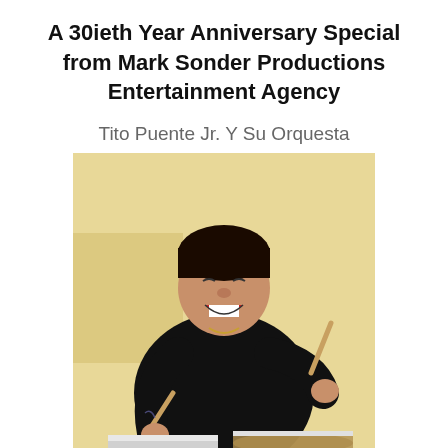A 30ieth Year Anniversary Special from Mark Sonder Productions Entertainment Agency
Tito Puente Jr. Y Su Orquesta
[Figure (photo): Tito Puente Jr. playing timbales, smiling with eyes closed, wearing a black shirt, holding two drumsticks, with timbale drums in the foreground and a golden/cream background.]